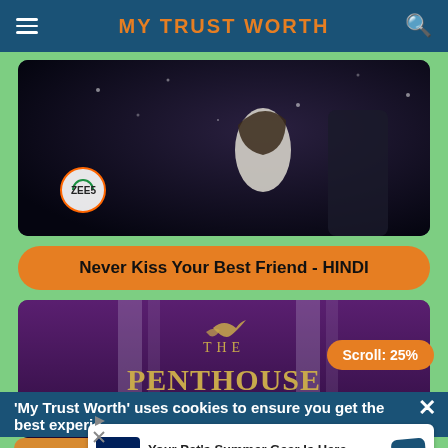MY TRUST WORTH
[Figure (screenshot): ZEE5 streaming app thumbnail showing a dark snowy romance scene with a woman in white]
Never Kiss Your Best Friend - HINDI
[Figure (screenshot): The Penthouse show thumbnail with purple background, golden text, pillars and dove logo]
Scroll: 25%
'My Trust Worth' uses cookies to ensure you get the best experie...
[Figure (infographic): Petco advertisement: Your Pet's Summer Gear Is Here, Petco logo]
Your Pet's Summer Gear Is Here
Petco